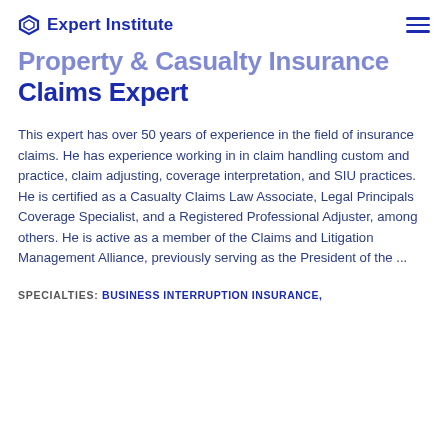Expert Institute
Property & Casualty Insurance Claims Expert
This expert has over 50 years of experience in the field of insurance claims. He has experience working in in claim handling custom and practice, claim adjusting, coverage interpretation, and SIU practices. He is certified as a Casualty Claims Law Associate, Legal Principals Coverage Specialist, and a Registered Professional Adjuster, among others. He is active as a member of the Claims and Litigation Management Alliance, previously serving as the President of the ...
SPECIALTIES: BUSINESS INTERRUPTION INSURANCE,